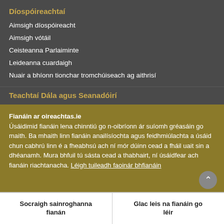Díospóireachtaí
Aimsigh díospóireacht
Aimsigh vótáil
Ceisteanna Parlaiminte
Leideanna cuardaigh
Nuair a bhíonn tionchar tromchúiseach ag aithrisí
Teachtaí Dála agus Seanadóirí
Fianáin ar oireachtas.ie
Úsáidimid fianáin lena chinntiú go n-oibríonn ár suíomh gréasáin go maith. Ba mhaith linn fianáin anailísíochta agus feidhmiúlachta a úsáid chun cabhrú linn é a fheabhsú ach ní mór dúinn cead a fháil uait sin a dhéanamh. Mura bhfuil tú sásta cead a thabhairt, ní úsáidfear ach fianáin riachtanacha. Léigh tuileadh faoinár bhfianáin
Socraigh sainroghanna fianán
Glac leis na fianáin go léir